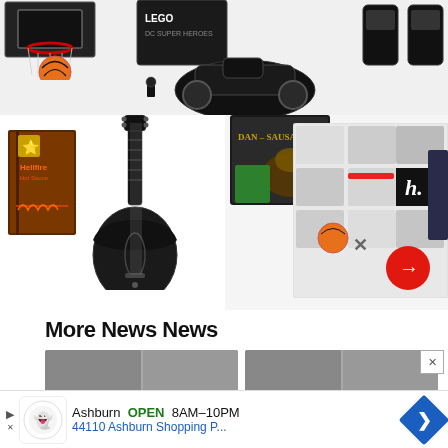[Figure (screenshot): Product grid screenshot showing basketball hoop, LEGO Batman Tumbler set, black canister products in top strip; black carbon fiber guitar (LAVA ME style) and book (Hellfire) on mid-left; Dan Sausageman gift box, gift hamper collage with h. badge and red arrow button on mid-right]
More News News
[Figure (photo): News thumbnails row showing two sets of person photos side by side]
[Figure (screenshot): Advertisement banner: Ashburn OPEN 8AM-10PM, 44110 Ashburn Shopping P...]